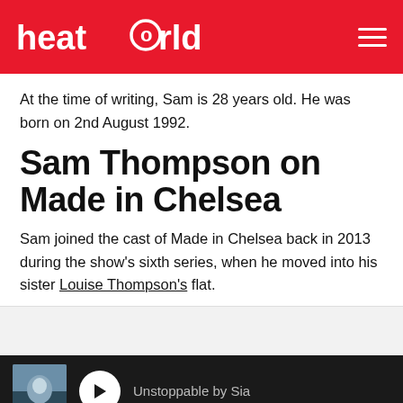heatworld
At the time of writing, Sam is 28 years old. He was born on 2nd August 1992.
Sam Thompson on Made in Chelsea
Sam joined the cast of Made in Chelsea back in 2013 during the show's sixth series, when he moved into his sister Louise Thompson's flat.
[Figure (other): Music player bar at bottom showing album art, play button, and track title 'Unstoppable by Sia' on dark background]